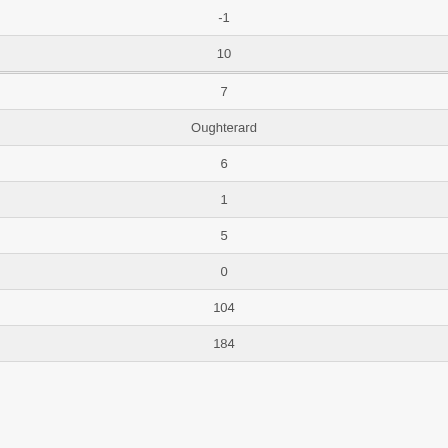| -1 |
| 10 |
| 7 |
| Oughterard |
| 6 |
| 1 |
| 5 |
| 0 |
| 104 |
| 184 |